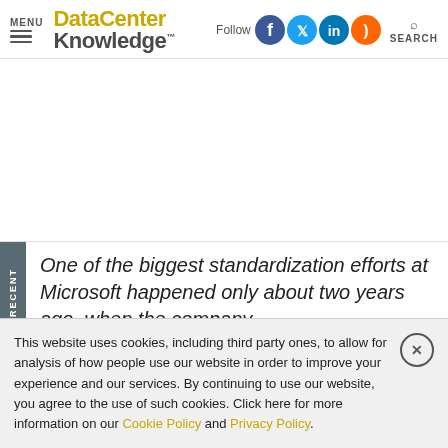MENU | DataCenter Knowledge | Follow | SEARCH
[Figure (other): Advertisement / blank white space area]
One of the biggest standardization efforts at Microsoft happened only about two years ago, when the company
This website uses cookies, including third party ones, to allow for analysis of how people use our website in order to improve your experience and our services. By continuing to use our website, you agree to the use of such cookies. Click here for more information on our Cookie Policy and Privacy Policy.